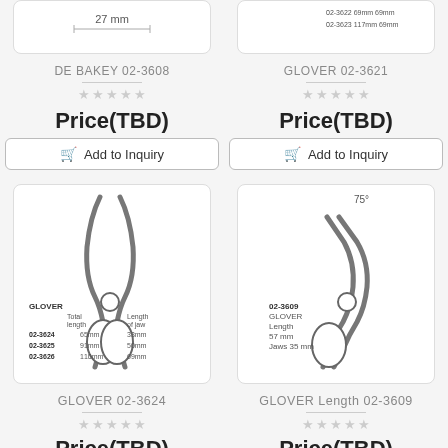[Figure (photo): Top of surgical clamp instrument for DE BAKEY 02-3608, showing 27mm measurement]
[Figure (photo): Top of surgical clamp instrument for GLOVER 02-3621 showing dimensions table: 02-3622 69mm/69mm, 02-3623 117mm/69mm]
DE BAKEY 02-3608
Price(TBD)
Add to Inquiry
GLOVER 02-3621
Price(TBD)
Add to Inquiry
[Figure (photo): GLOVER surgical clamp instrument with table: 02-3624 65mm/33mm, 02-3625 91mm/50mm, 02-3626 110mm/69mm]
[Figure (photo): GLOVER surgical clamp at 75 degrees angle, 02-3609, Length 57mm, Jaws 35mm]
GLOVER 02-3624
Price(TBD)
GLOVER Length 02-3609
Price(TBD)